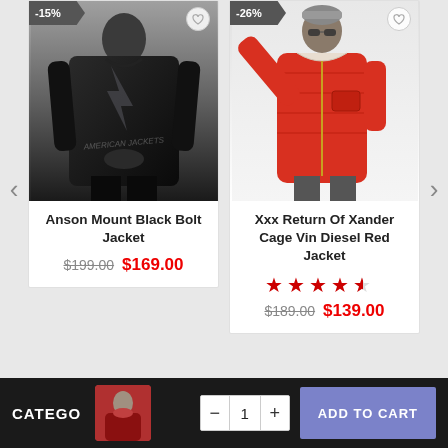[Figure (photo): Product card for Anson Mount Black Bolt Jacket — man in black leather jacket with lightning bolt design, discount badge -15%, wishlist heart icon]
Anson Mount Black Bolt Jacket
$199.00  $169.00
[Figure (photo): Product card for Xxx Return Of Xander Cage Vin Diesel Red Jacket — man in red puffer jacket with fur collar, waving, wearing sunglasses and grey beanie, discount badge -26%]
Xxx Return Of Xander Cage Vin Diesel Red Jacket
4.5 stars rating  $189.00  $139.00
CATEGO  - 1 +  ADD TO CART